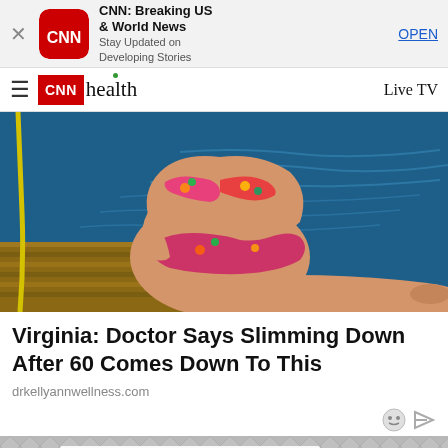[Figure (screenshot): CNN app banner ad with CNN logo, app name 'CNN: Breaking US & World News', subtitle 'Stay Updated on Developing Stories', and OPEN button]
CNN health  Live TV
[Figure (photo): Woman in colorful floral bikini sitting on a wooden dock by blue water]
Virginia: Doctor Says Slimming Down After 60 Comes Down To This
drkellyannwellness.com
[Figure (photo): Close-up of a US Treasury check/envelope with official government text]